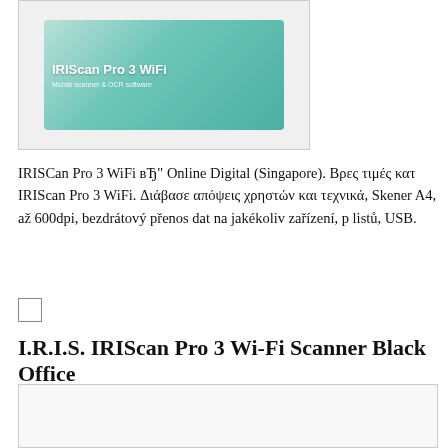[Figure (photo): IRIScan Pro 3 WiFi product box in teal/green color with scanner device label and 'Mobile scanner & OCR software' text]
IRISCan Pro 3 WiFi – Online Digital (Singapore). Βρες τιμές κατ IRIScan Pro 3 WiFi. Διάβασε απόψεις χρηστών και τεχνικά, Skener A4, až 600dpi, bezdrátový přenos dat na jakékoliv zařízení, p listů, USB.
[Figure (other): Checkbox (empty square)]
I.R.I.S. IRIScan Pro 3 Wi-Fi Scanner Black Office
[Figure (photo): Large image area (partially visible) for I.R.I.S. IRIScan Pro 3 Wi-Fi Scanner Black Office product]